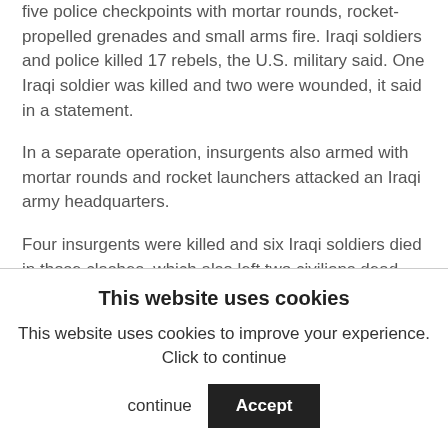five police checkpoints with mortar rounds, rocket-propelled grenades and small arms fire. Iraqi soldiers and police killed 17 rebels, the U.S. military said. One Iraqi soldier was killed and two were wounded, it said in a statement.
In a separate operation, insurgents also armed with mortar rounds and rocket launchers attacked an Iraqi army headquarters.
Four insurgents were killed and six Iraqi soldiers died in those clashes, which also left two civilians dead.
Although suicide bombings continue to inflict heavy damage, insurgents have been launching increasingly
This website uses cookies
This website uses cookies to improve your experience. Click to continue
Accept